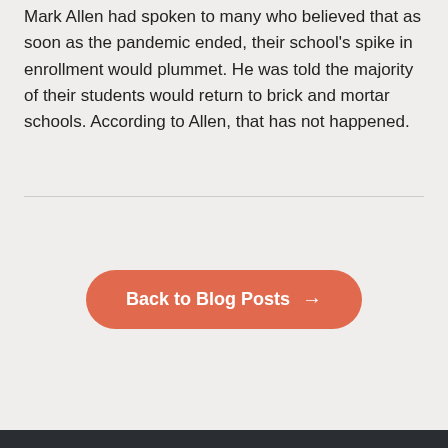Mark Allen had spoken to many who believed that as soon as the pandemic ended, their school's spike in enrollment would plummet. He was told the majority of their students would return to brick and mortar schools. According to Allen, that has not happened.
Back to Blog Posts →